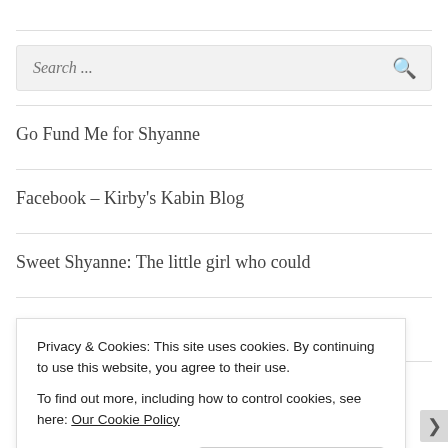[Figure (screenshot): Search input box with placeholder text 'Search ...' and a magnifying glass icon on the right, on a light grey background]
Go Fund Me for Shyanne
Facebook – Kirby's Kabin Blog
Sweet Shyanne: The little girl who could
Facebook – Susie's Chem Free Zone
Instagram @kirbyzkorner
Privacy & Cookies: This site uses cookies. By continuing to use this website, you agree to their use.
To find out more, including how to control cookies, see here: Our Cookie Policy
Close and accept